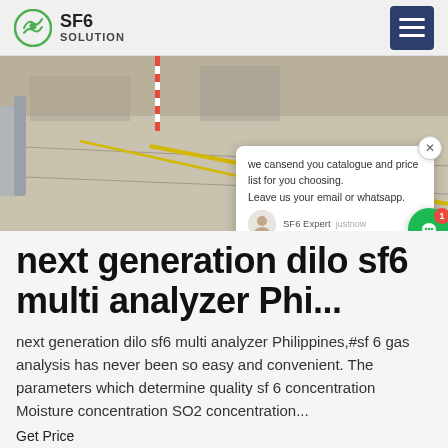SF6 SOLUTION
[Figure (photo): Outdoor industrial site, concrete surface with yellow line markings and pipe equipment visible]
[Figure (screenshot): Chat popup widget with message: 'we can send you catalogue and price list for you choosing. Leave us your email or whatsapp.' with SF6 Expert avatar and justnow timestamp]
next generation dilo sf6 multi analyzer Philippines
next generation dilo sf6 multi analyzer Philippines,#sf 6 gas analysis has never been so easy and convenient. The parameters which determine quality sf 6 concentration Moisture concentration SO2 concentration...
Get Price